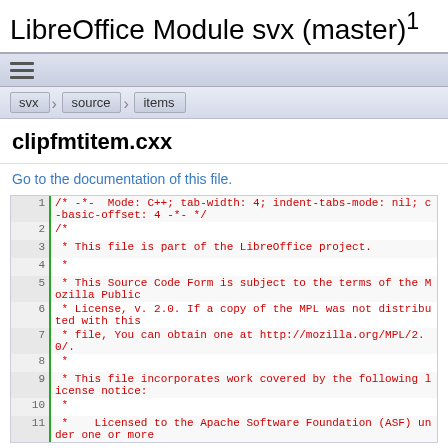LibreOffice Module svx (master) 1
[Figure (other): Navigation hamburger menu icon bar]
svx > source > items
clipfmtitem.cxx
Go to the documentation of this file.
Code listing lines 1-11: /* -*-  Mode: C++; tab-width: 4; indent-tabs-mode: nil; c-basic-offset: 4 -*- */ /* * This file is part of the LibreOffice project. * * This Source Code Form is subject to the terms of the Mozilla Public * License, v. 2.0. If a copy of the MPL was not distributed with this * file, You can obtain one at http://mozilla.org/MPL/2.0/. * * This file incorporates work covered by the following license notice: * *     Licensed to the Apache Software Foundation (ASF) under one or more